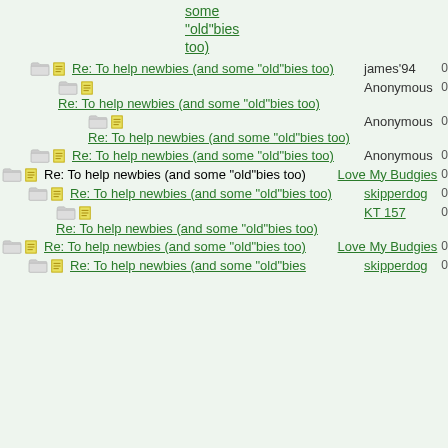some "old"bies too) (partial, top of page)
Re: To help newbies (and some "old"bies too) — james'94 — 0
Re: To help newbies (and some "old"bies too) — Anonymous — 0
Re: To help newbies (and some "old"bies too) — Anonymous — 0
Re: To help newbies (and some "old"bies too) — Anonymous — 0
Re: To help newbies (and some "old"bies too) — Love My Budgies — 0
Re: To help newbies (and some "old"bies too) — skipperdog — 0
Re: To help newbies (and some "old"bies too) — KT 157 — 0
Re: To help newbies (and some "old"bies too) — Love My Budgies — 0
Re: To help newbies (and some "old"bies too) — skipperdog — 0